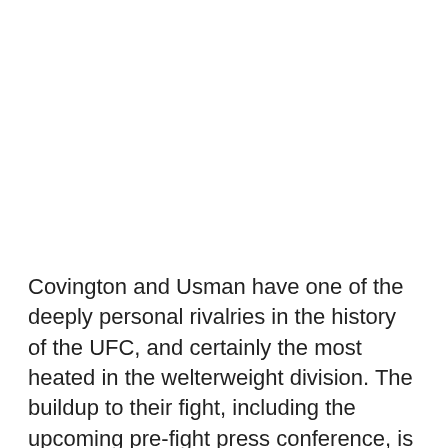Covington and Usman have one of the deeply personal rivalries in the history of the UFC, and certainly the most heated in the welterweight division. The buildup to their fight, including the upcoming pre-fight press conference, is sure to be entertaining once again.